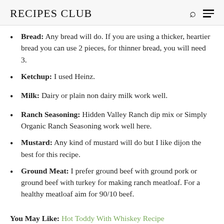RECIPES CLUB
Bread: Any bread will do. If you are using a thicker, heartier bread you can use 2 pieces, for thinner bread, you will need 3.
Ketchup: I used Heinz.
Milk: Dairy or plain non dairy milk work well.
Ranch Seasoning: Hidden Valley Ranch dip mix or Simply Organic Ranch Seasoning work well here.
Mustard: Any kind of mustard will do but I like dijon the best for this recipe.
Ground Meat: I prefer ground beef with ground pork or ground beef with turkey for making ranch meatloaf. For a healthy meatloaf aim for 90/10 beef.
You May Like: Hot Toddy With Whiskey Recipe